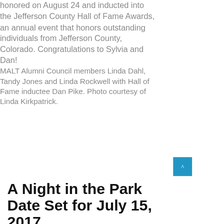honored on August 24 and inducted into the Jefferson County Hall of Fame Awards, an annual event that honors outstanding individuals from Jefferson County, Colorado. Congratulations to Sylvia and Dan!
MALT Alumni Council members Linda Dahl, Tandy Jones and Linda Rockwell with Hall of Fame inductee Dan Pike. Photo courtesy of Linda Kirkpatrick.
A Night in the Park Date Set for July 15, 2017